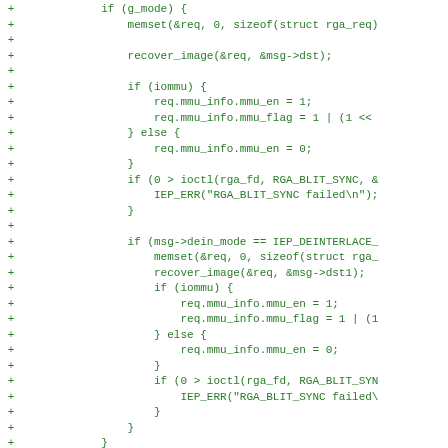[Figure (other): Source code diff showing C code additions (lines prefixed with '+') for RGA/IEP image processing driver code. Green text on white background showing memset, recover_image, iommu configuration, ioctl calls, and deinterlace mode handling.]